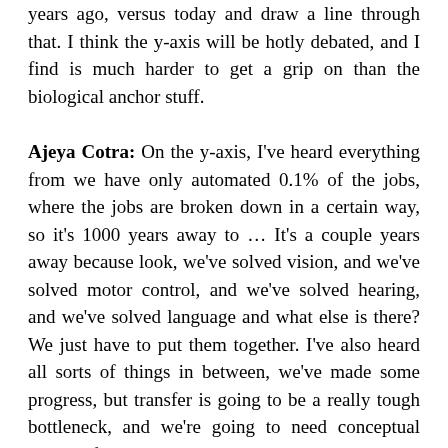years ago, versus today and draw a line through that. I think the y-axis will be hotly debated, and I find is much harder to get a grip on than the biological anchor stuff.
Ajeya Cotra: On the y-axis, I've heard everything from we have only automated 0.1% of the jobs, where the jobs are broken down in a certain way, so it's 1000 years away to … It's a couple years away because look, we've solved vision, and we've solved motor control, and we've solved hearing, and we've solved language and what else is there? We just have to put them together. I've also heard all sorts of things in between, we've made some progress, but transfer is going to be a really tough bottleneck, and we're going to need conceptual insights for